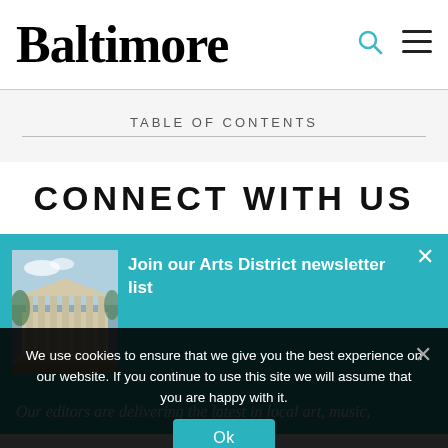Baltimore
TABLE OF CONTENTS
CONNECT WITH US
[Figure (infographic): Teal newsletter signup banner with image of a classical columned building and text: Join our Arts District newsletter list. Close (x) button in top right.]
Our editors are delivering the latest in local art, music,
We use cookies to ensure that we give you the best experience on our website. If you continue to use this site we will assume that you are happy with it.
Ok